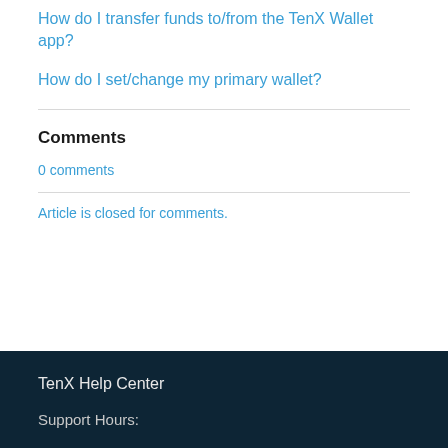How do I transfer funds to/from the TenX Wallet app?
How do I set/change my primary wallet?
Comments
0 comments
Article is closed for comments.
TenX Help Center
Support Hours: